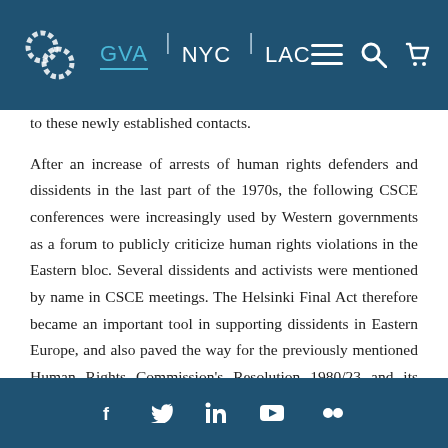GVA | NYC | LAC
to these newly established contacts.
After an increase of arrests of human rights defenders and dissidents in the last part of the 1970s, the following CSCE conferences were increasingly used by Western governments as a forum to publicly criticize human rights violations in the Eastern bloc. Several dissidents and activists were mentioned by name in CSCE meetings. The Helsinki Final Act therefore became an important tool in supporting dissidents in Eastern Europe, and also paved the way for the previously mentioned Human Rights Commission’s Resolution 1980/23 and its follow-up process. A crucial element of the resolution, which was difficult to accept for countries in the Eastern bloc, was the acknowledgement that effective implementation of international standards for human rights relies on the work of activists and
f  ţ  in  ►  □